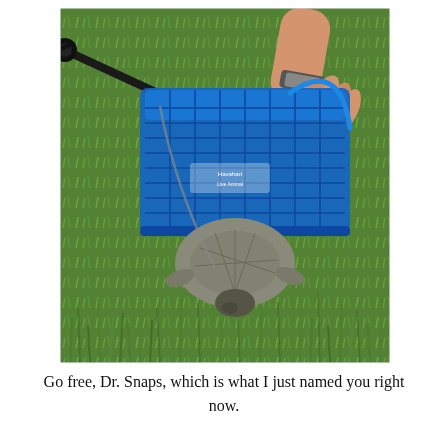[Figure (photo): A person's hand lifts a blue plastic crate or carrier over a snapping turtle sitting on green grass. A black metal rod (snare pole) is visible in the upper left. The turtle's shell and head are visible beneath the blue crate. The person is wearing a watch.]
Go free, Dr. Snaps, which is what I just named you right now.